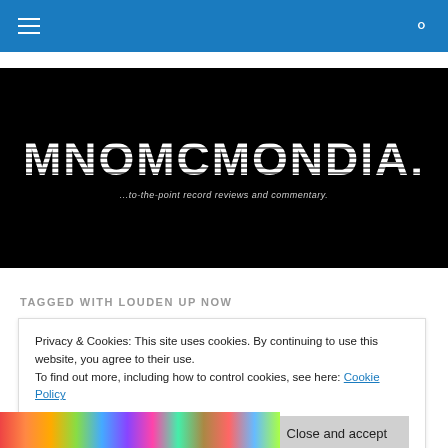Navigation bar with hamburger menu and search icon
[Figure (logo): MNOMCMONDIA. logo on black background with horizontal stripe effect and tagline '...to-the-point record reviews and commentary.']
TAGGED WITH LOUDEN UP NOW
Privacy & Cookies: This site uses cookies. By continuing to use this website, you agree to their use.
To find out more, including how to control cookies, see here: Cookie Policy
Close and accept